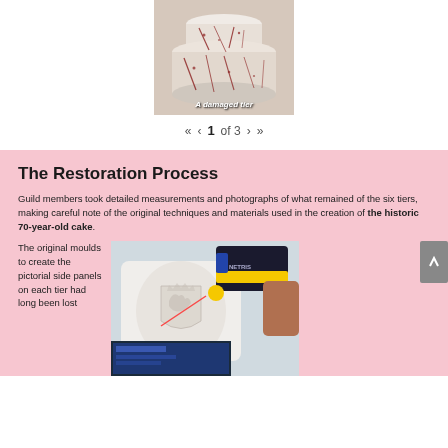[Figure (photo): A damaged white cake tier with red stains/cracks visible on its surface]
A damaged tier
« ‹ 1 of 3 › »
The Restoration Process
Guild members took detailed measurements and photographs of what remained of the six tiers, making careful note of the original techniques and materials used in the creation of the historic 70-year-old cake.
The original moulds to create the pictorial side panels on each tier had long been lost
[Figure (photo): A white cake tier or decorative object with a royal coat of arms relief, being scanned with a yellow and black handheld 3D scanner device, with a laptop screen visible in the foreground]